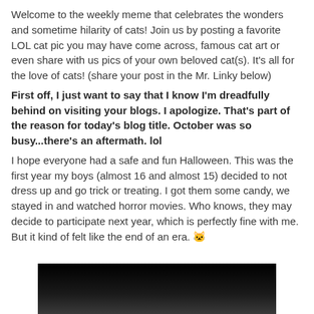Welcome to the weekly meme that celebrates the wonders and sometime hilarity of cats! Join us by posting a favorite LOL cat pic you may have come across, famous cat art or even share with us pics of your own beloved cat(s). It's all for the love of cats! (share your post in the Mr. Linky below)
First off, I just want to say that I know I'm dreadfully behind on visiting your blogs. I apologize. That's part of the reason for today's blog title. October was so busy...there's an aftermath. lol
I hope everyone had a safe and fun Halloween. This was the first year my boys (almost 16 and almost 15) decided to not dress up and go trick or treating. I got them some candy, we stayed in and watched horror movies. Who knows, they may decide to participate next year, which is perfectly fine with me. But it kind of felt like the end of an era. 🐱
[Figure (photo): Dark/black image, partially visible, appears to be a photo at the bottom of the page]